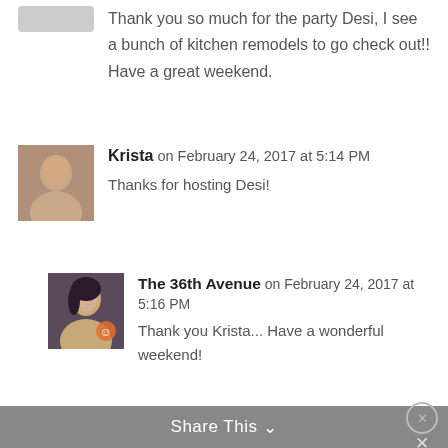Thank you so much for the party Desi, I see a bunch of kitchen remodels to go check out!! Have a great weekend.
Krista on February 24, 2017 at 5:14 PM
Thanks for hosting Desi!
The 36th Avenue on February 24, 2017 at 5:16 PM
Thank you Krista... Have a wonderful weekend!
Share This